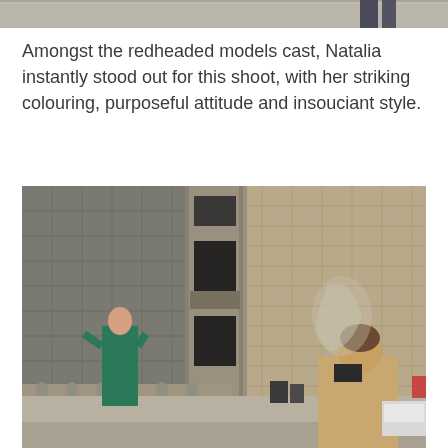[Figure (photo): Partial top photo showing bottom edge of a street scene, appears to be legs/feet of a person on pavement]
Amongst the redheaded models cast, Natalia instantly stood out for this shoot, with her striking colouring, purposeful attitude and insouciant style.
[Figure (photo): Urban outdoor photo showing a woman in a teal/green coat posing in front of a large stone building with ornate architecture. A photographer with short hair is visible from behind in the foreground right.]